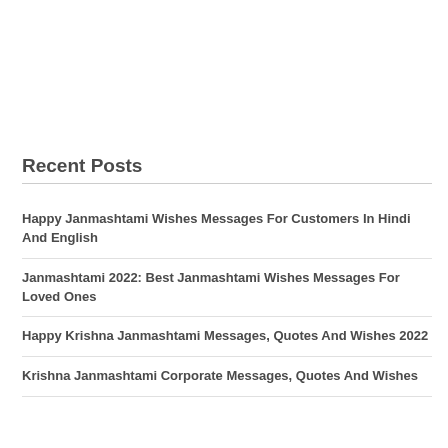Recent Posts
Happy Janmashtami Wishes Messages For Customers In Hindi And English
Janmashtami 2022: Best Janmashtami Wishes Messages For Loved Ones
Happy Krishna Janmashtami Messages, Quotes And Wishes 2022
Krishna Janmashtami Corporate Messages, Quotes And Wishes